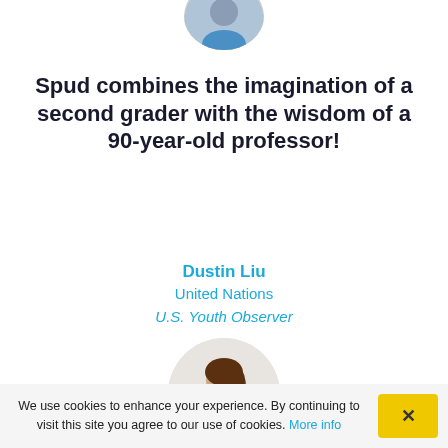[Figure (photo): Circular avatar photo of a person at the top of the page, partially cropped]
Spud combines the imagination of a second grader with the wisdom of a 90-year-old professor!
Dustin Liu
United Nations
U.S. Youth Observer
[Figure (photo): Circular portrait photo of a smiling woman with long hair]
Spud is hands down the most creative community builder I've ever met. This
We use cookies to enhance your experience. By continuing to visit this site you agree to our use of cookies. More info